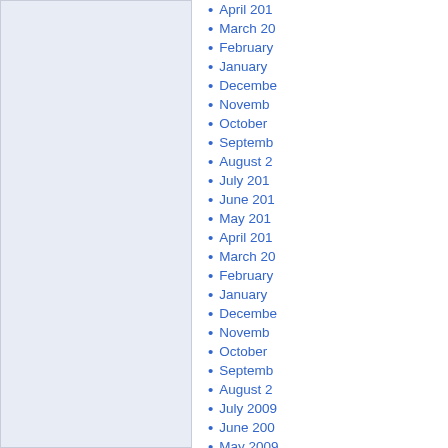[Figure (other): Blue/lavender shaded left panel area, appears to be a content region or calendar/widget area with light blue-gray background and border.]
April 201...
March 20...
February ...
January ...
December ...
November ...
October ...
September ...
August 2...
July 201...
June 201...
May 201...
April 201...
March 20...
February ...
January ...
December ...
November ...
October ...
September ...
August 2...
July 2009...
June 200...
May 2009...
April 200...
March 20...
February ...
January ...
December ...
November ...
October ...
September ...